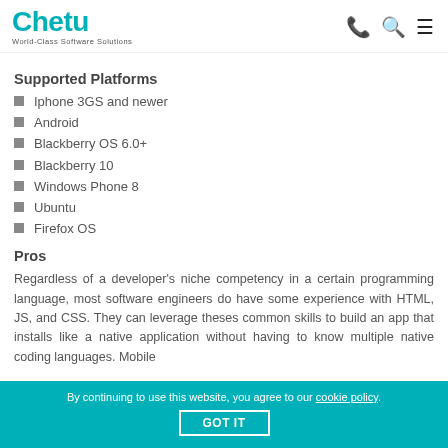Chetu World-Class Software Solutions
Supported Platforms
Iphone 3GS and newer
Android
Blackberry OS 6.0+
Blackberry 10
Windows Phone 8
Ubuntu
Firefox OS
Pros
Regardless of a developer's niche competency in a certain programming language, most software engineers do have some experience with HTML, JS, and CSS. They can leverage theses common skills to build an app that installs like a native application without having to know multiple native coding languages. Mobile
By continuing to use this website, you agree to our cookie policy. GOT IT